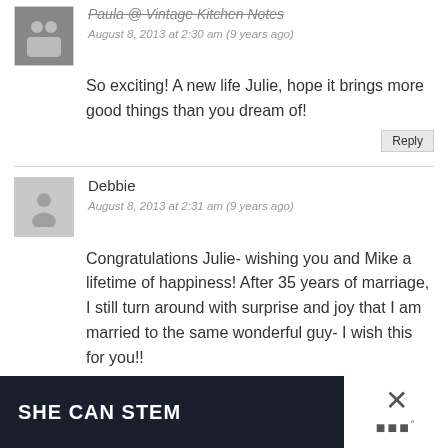Paula @ Vintage Kitchen Notes
August 8, 2013 at 2:30 am (9 years ago)
So exciting! A new life Julie, hope it brings more good things than you dream of!
Reply
Debbie
August 8, 2013 at 2:31 am (9 years ago)
Congratulations Julie- wishing you and Mike a lifetime of happiness! After 35 years of marriage, I still turn around with surprise and joy that I am married to the same wonderful guy- I wish this for you!!
Reply
[Figure (other): Bottom banner ad showing 'SHE CAN STEM' text on dark background with close (X) button and logo on right side]